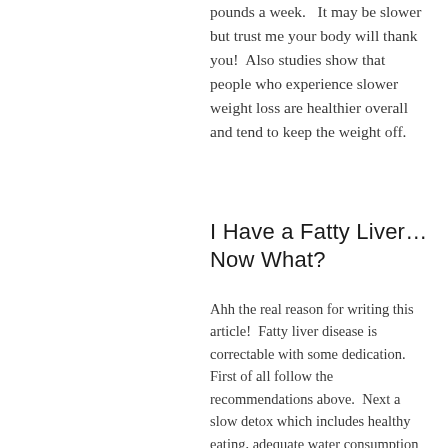pounds a week.  It may be slower but trust me your body will thank you!  Also studies show that people who experience slower weight loss are healthier overall and tend to keep the weight off.
I Have a Fatty Liver… Now What?
Ahh the real reason for writing this article!  Fatty liver disease is correctable with some dedication.  First of all follow the recommendations above.  Next a slow detox which includes healthy eating, adequate water consumption and exercise.